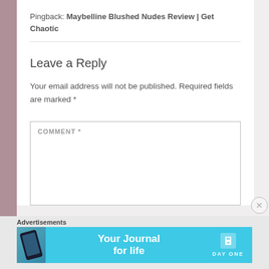Pingback: Maybelline Blushed Nudes Review | Get Chaotic
Leave a Reply
Your email address will not be published. Required fields are marked *
COMMENT *
Advertisements
[Figure (infographic): Advertisement banner for Day One journal app with cyan background, phone image on left, 'Your Journal for life' text in center, and Day One logo on right]